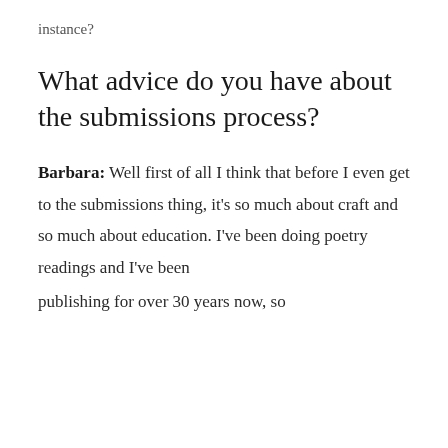instance?
What advice do you have about the submissions process?
Barbara: Well first of all I think that before I even get to the submissions thing, it’s so much about craft and so much about education. I’ve been doing poetry readings and I’ve been publishing for over 30 years now, so